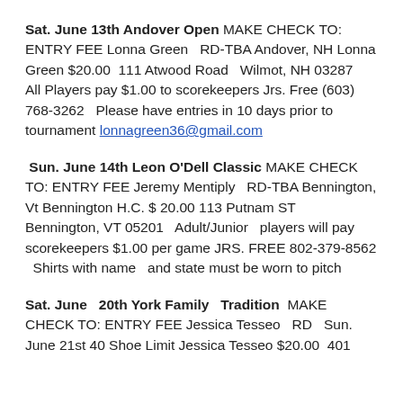Sat. June 13th Andover Open MAKE CHECK TO: ENTRY FEE Lonna Green RD-TBA Andover, NH Lonna Green $20.00 111 Atwood Road Wilmot, NH 03287 All Players pay $1.00 to scorekeepers Jrs. Free (603) 768-3262 Please have entries in 10 days prior to tournament lonnagreen36@gmail.com
Sun. June 14th Leon O'Dell Classic MAKE CHECK TO: ENTRY FEE Jeremy Mentiply RD-TBA Bennington, Vt Bennington H.C. $ 20.00 113 Putnam ST Bennington, VT 05201 Adult/Junior players will pay scorekeepers $1.00 per game JRS. FREE 802-379-8562 Shirts with name and state must be worn to pitch
Sat. June 20th York Family Tradition MAKE CHECK TO: ENTRY FEE Jessica Tesseo RD Sun. June 21st 40 Shoe Limit Jessica Tesseo $20.00 401